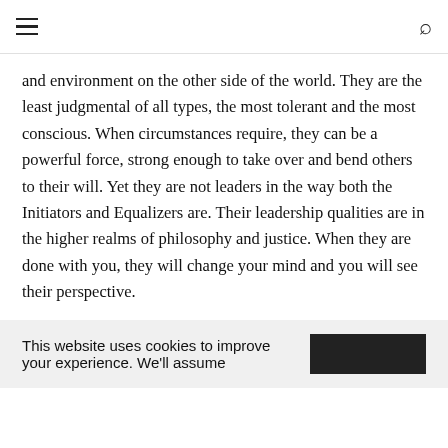≡  🔍
and environment on the other side of the world. They are the least judgmental of all types, the most tolerant and the most conscious. When circumstances require, they can be a powerful force, strong enough to take over and bend others to their will. Yet they are not leaders in the way both the Initiators and Equalizers are. Their leadership qualities are in the higher realms of philosophy and justice. When they are done with you, they will change your mind and you will see their perspective.
Key Strengths:
This website uses cookies to improve your experience. We'll assume